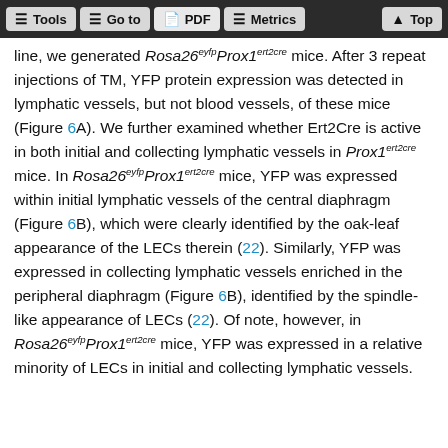Tools | Go to | PDF | Metrics | Top
line, we generated Rosa26eyfpProx1ert2cre mice. After 3 repeat injections of TM, YFP protein expression was detected in lymphatic vessels, but not blood vessels, of these mice (Figure 6A). We further examined whether Ert2Cre is active in both initial and collecting lymphatic vessels in Prox1ert2cre mice. In Rosa26eyfpProx1ert2cre mice, YFP was expressed within initial lymphatic vessels of the central diaphragm (Figure 6B), which were clearly identified by the oak-leaf appearance of the LECs therein (22). Similarly, YFP was expressed in collecting lymphatic vessels enriched in the peripheral diaphragm (Figure 6B), identified by the spindle-like appearance of LECs (22). Of note, however, in Rosa26eyfpProx1ert2cre mice, YFP was expressed in a relative minority of LECs in initial and collecting lymphatic vessels.